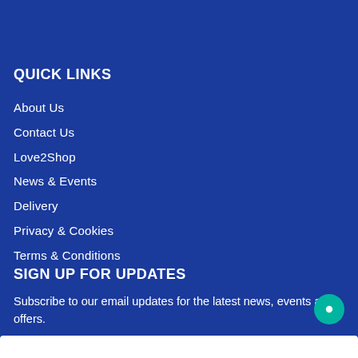QUICK LINKS
About Us
Contact Us
Love2Shop
News & Events
Delivery
Privacy & Cookies
Terms & Conditions
SIGN UP FOR UPDATES
Subscribe to our email updates for the latest news, events and offers.